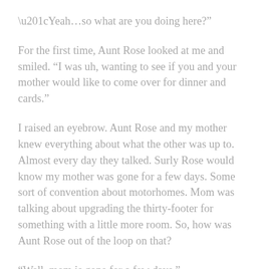“Yeah…so what are you doing here?”
For the first time, Aunt Rose looked at me and smiled. “I was uh, wanting to see if you and your mother would like to come over for dinner and cards.”
I raised an eyebrow. Aunt Rose and my mother knew everything about what the other was up to. Almost every day they talked. Surly Rose would know my mother was gone for a few days. Some sort of convention about motorhomes. Mom was talking about upgrading the thirty-footer for something with a little more room. So, how was Aunt Rose out of the loop on that?
“Well, mom is gone for a few days.”
Aunt Rose looked at me, silence filling the room for a few seconds. She then nodded her head and said, “right…